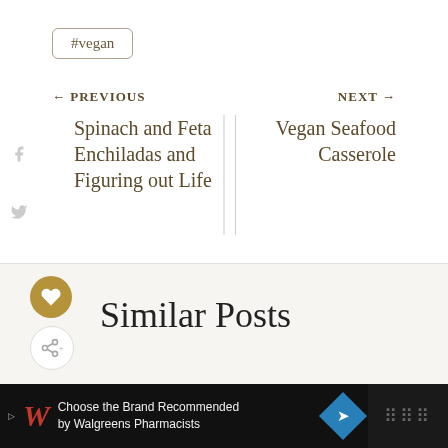#vegan
← PREVIOUS
NEXT →
Spinach and Feta Enchiladas and Figuring out Life
Vegan Seafood Casserole
Similar Posts
[Figure (screenshot): Walgreens advertisement bar at bottom: Choose the Brand Recommended by Walgreens Pharmacists]